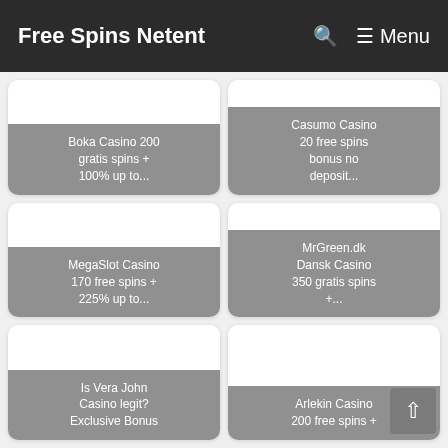Free Spins Netent   🔍  ☰ Menu
[Figure (screenshot): Card: Boka Casino 200 gratis spins + 100% up to...]
[Figure (screenshot): Card: Casumo Casino 20 free spins bonus no deposit...]
[Figure (screenshot): Card: MegaSlot Casino 170 free spins + 225% up to...]
[Figure (screenshot): Card: MrGreen.dk Dansk Casino 350 gratis spins +...]
[Figure (screenshot): Card: Is Vera John Casino legit? Exclusive Bonus]
[Figure (screenshot): Card: Arlekin Casino 200 free spins +]